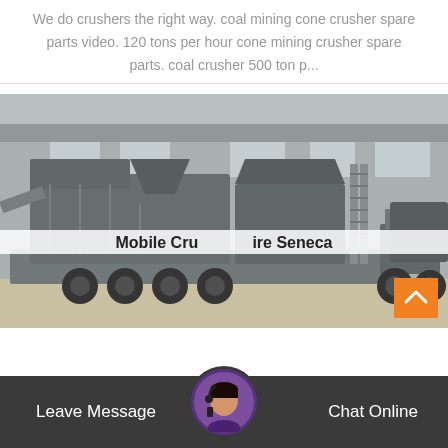We do crushers the right way. coal mining cone crusher spare parts video. 120 tons per hour cone mining crusher spare parts. coal crusher 500 ton p...
[Figure (photo): Large mobile crushing machine on a heavy truck/trailer inside an industrial warehouse facility. The machine is gray colored with multiple components including conveyor belts and processing units.]
Mobile Crusher Hire Seneca
Leave Message
Chat Online